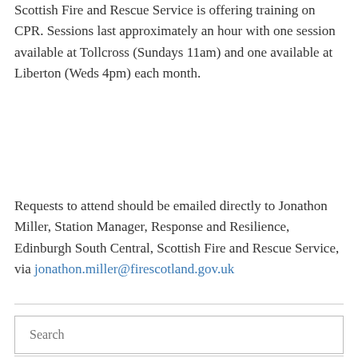Scottish Fire and Rescue Service is offering training on CPR. Sessions last approximately an hour with one session available at Tollcross (Sundays 11am) and one available at Liberton (Weds 4pm) each month.
Requests to attend should be emailed directly to Jonathon Miller, Station Manager, Response and Resilience, Edinburgh South Central, Scottish Fire and Rescue Service, via jonathon.miller@firescotland.gov.uk
January 21, 2016
Leave a Reply
Search